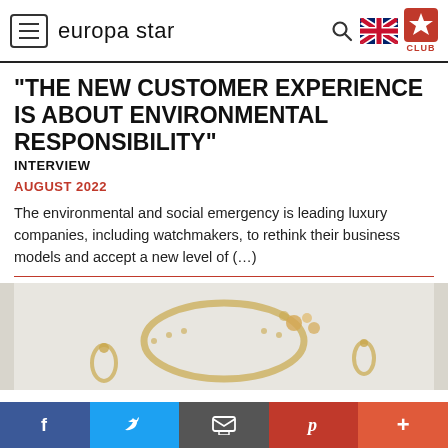europa star
“THE NEW CUSTOMER EXPERIENCE IS ABOUT ENVIRONMENTAL RESPONSIBILITY”
INTERVIEW
AUGUST 2022
The environmental and social emergency is leading luxury companies, including watchmakers, to rethink their business models and accept a new level of (…)
[Figure (photo): Gold jewelry pieces on white background, including a necklace and earrings]
f  Twitter  Email  Pinterest  +